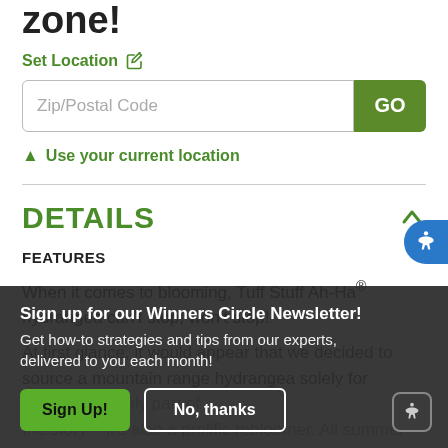zone!
Set Location
Zip/Postal Code
GO
Use your current location
DETAILS
FEATURES
When it comes to blooming, Tuff Stuff Ah-Ha® hydrangea can't stop, won't stop!
At first glance, it would appear that we decided to source a mountain range hydrangea solely for ...
Sign up for our Winners Circle Newsletter! Get how-to strategies and tips from our experts, delivered to you each month!
Sign Up!
No, thanks